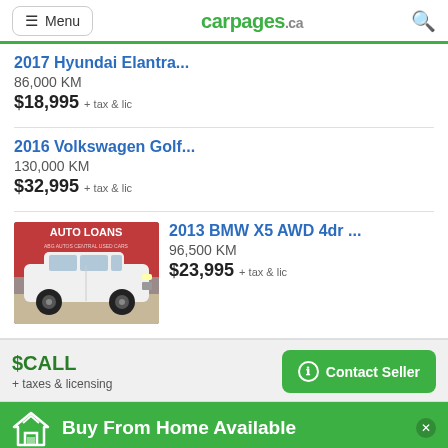Menu | carpages.ca
2017 Hyundai Elantra...
86,000 KM
$18,995 + tax & lic
2016 Volkswagen Golf...
130,000 KM
$32,995 + tax & lic
[Figure (photo): Photo of a white 2013 BMW X5 SUV parked in front of an Auto Loans sign]
2013 BMW X5 AWD 4dr ...
96,500 KM
$23,995 + tax & lic
$CALL
+ taxes & licensing
Contact Seller
Buy From Home Available